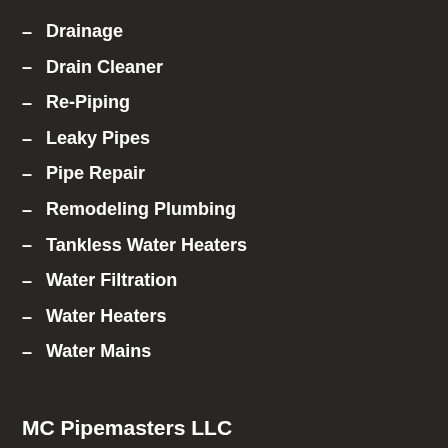Drainage
Drain Cleaner
Re-Piping
Leaky Pipes
Pipe Repair
Remodeling Plumbing
Tankless Water Heaters
Water Filtration
Water Heaters
Water Mains
MC Pipemasters LLC